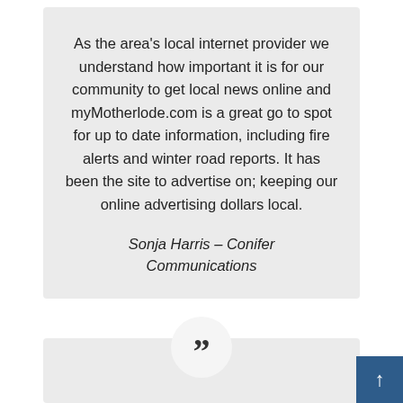As the area's local internet provider we understand how important it is for our community to get local news online and myMotherlode.com is a great go to spot for up to date information, including fire alerts and winter road reports. It has been the site to advertise on; keeping our online advertising dollars local.
Sonja Harris – Conifer Communications
[Figure (illustration): Closing quotation mark symbol (double right curly quotes) inside a light circular background, appearing at the top of a second testimonial block]